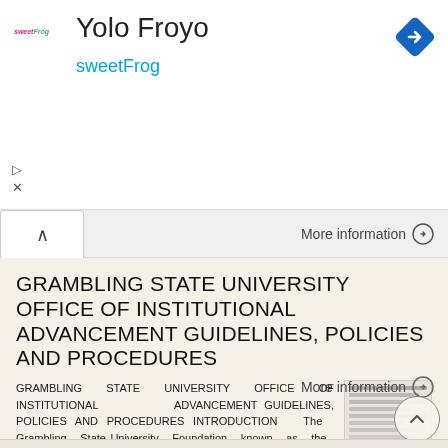[Figure (screenshot): Ad banner for sweetFrog 'Yolo Froyo' with logo, title, subtitle, navigation diamond icon, and play/close icons]
[Figure (screenshot): UI collapse tab with caret-up and 'More information' link with arrow]
GRAMBLING STATE UNIVERSITY OFFICE OF INSTITUTIONAL ADVANCEMENT GUIDELINES, POLICIES AND PROCEDURES
GRAMBLING STATE UNIVERSITY OFFICE OF INSTITUTIONAL ADVANCEMENT GUIDELINES, POLICIES AND PROCEDURES INTRODUCTION The Grambling State University Foundation known as the Grambling University Foundation was
[Figure (screenshot): Thumbnail preview of document page]
More information →
[Figure (screenshot): Scroll-up circular button with caret icon]